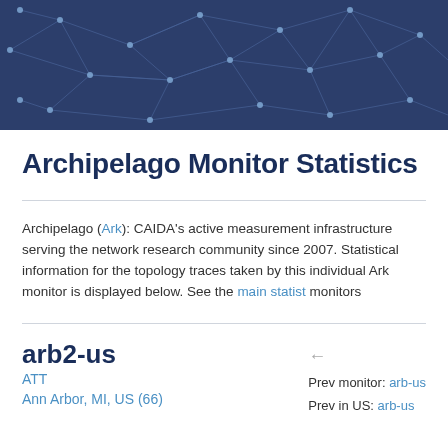[Figure (illustration): Dark blue network graph banner with connected nodes and lines on a dark navy background]
Archipelago Monitor Statistics
Archipelago (Ark): CAIDA's active measurement infrastructure serving the network research community since 2007. Statistical information for the topology traces taken by this individual Ark monitor is displayed below. See the main statistics for all monitors
arb2-us
ATT
Ann Arbor, MI, US (66)
Prev monitor: arb-us
Prev in US: arb-us